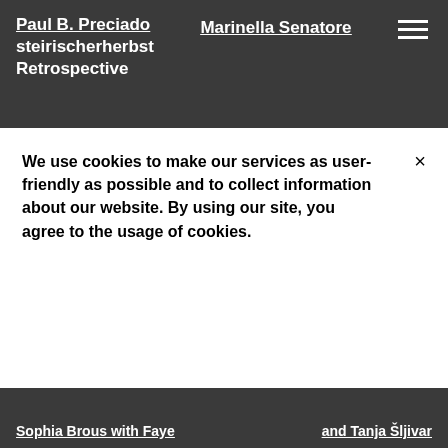Paul B. Preciado steirischerherbst Retrospective
Marinella Senatore
Performances
We use cookies to make our services as user-friendly as possible and to collect information about our website. By using our site, you agree to the usage of cookies.
and Tanja Šljivar
Sophia Brous with Faye